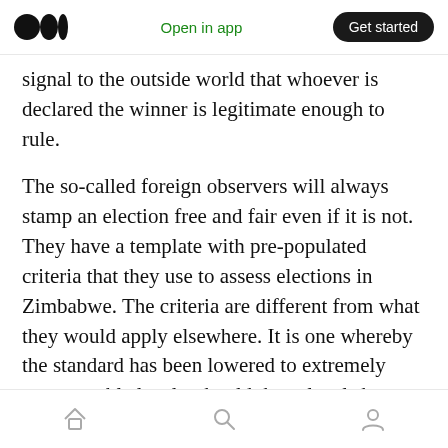Medium logo | Open in app | Get started
signal to the outside world that whoever is declared the winner is legitimate enough to rule.
The so-called foreign observers will always stamp an election free and fair even if it is not. They have a template with pre-populated criteria that they use to assess elections in Zimbabwe. The criteria are different from what they would apply elsewhere. It is one whereby the standard has been lowered to extremely unacceptable levels, should those levels have been applied anywhere else.
Home | Search | Profile